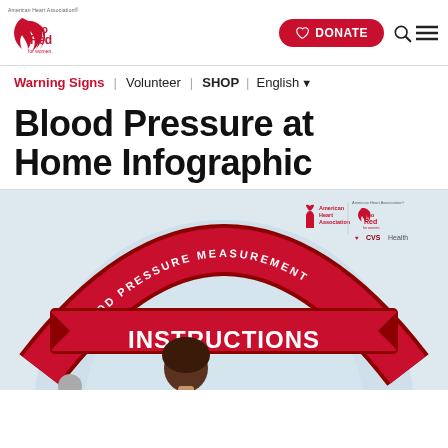American Heart Association | Go Red for Women
Warning Signs | Volunteer | SHOP | English
Blood Pressure at Home Infographic
[Figure (infographic): Blood Pressure Measurement Instructions infographic showing a woman seated, with circular design in red and grey. Logos of American Heart Association, Go Red for Women, and CVS Health visible.]